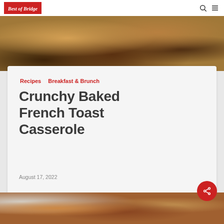Best of Bridge
[Figure (photo): Close-up photo of crunchy baked French toast casserole with blueberries and golden-brown crust in a baking dish]
Recipes  Breakfast & Brunch
Crunchy Baked French Toast Casserole
August 17, 2022
[Figure (photo): Photo of baked French toast casserole with dark raisins and golden crust on a white dish]